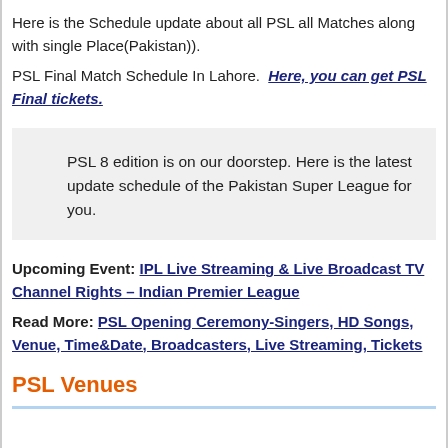Here is the Schedule update about all PSL all Matches along with single Place(Pakistan)).
PSL Final Match Schedule In Lahore.  Here, you can get PSL Final tickets.
PSL 8 edition is on our doorstep. Here is the latest update schedule of the Pakistan Super League for you.
Upcoming Event: IPL Live Streaming & Live Broadcast TV Channel Rights – Indian Premier League
Read More: PSL Opening Ceremony-Singers, HD Songs, Venue, Time&Date, Broadcasters, Live Streaming, Tickets
PSL Venues